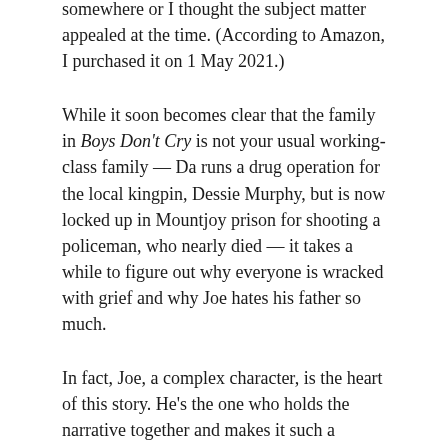somewhere or I thought the subject matter appealed at the time. (According to Amazon, I purchased it on 1 May 2021.)
While it soon becomes clear that the family in Boys Don't Cry is not your usual working-class family — Da runs a drug operation for the local kingpin, Dessie Murphy, but is now locked up in Mountjoy prison for shooting a policeman, who nearly died — it takes a while to figure out why everyone is wracked with grief and why Joe hates his father so much.
In fact, Joe, a complex character, is the heart of this story. He's the one who holds the narrative together and makes it such a compelling read because you feel for him — and fear for him.
He's clearly emotionally troubled — it takes some time to get to the root of why this might be the case — and he's filled